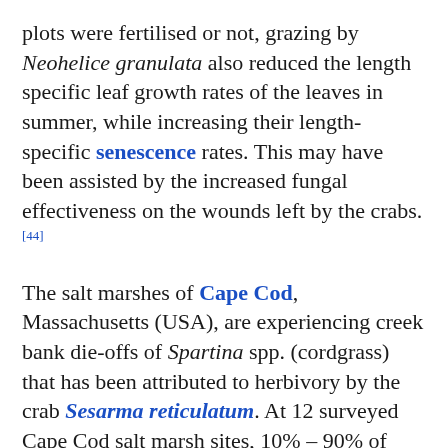plots were fertilised or not, grazing by Neohelice granulata also reduced the length specific leaf growth rates of the leaves in summer, while increasing their length-specific senescence rates. This may have been assisted by the increased fungal effectiveness on the wounds left by the crabs. [44]
The salt marshes of Cape Cod, Massachusetts (USA), are experiencing creek bank die-offs of Spartina spp. (cordgrass) that has been attributed to herbivory by the crab Sesarma reticulatum. At 12 surveyed Cape Cod salt marsh sites, 10% – 90% of creek banks experienced die-off of cordgrass in association with a highly denuded substrate and high density of crab burrows. Populations of Sesarma reticulatum are increasing, possibly as a result of the degradation of the coastal food web in the region. [45] The bare areas left by the intense grazing of cordgrass by Sesarma